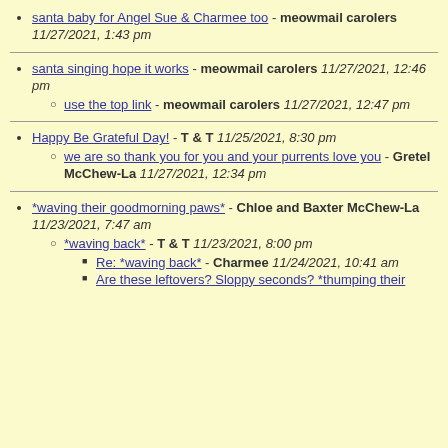santa baby for Angel Sue & Charmee too - meowmail carolers 11/27/2021, 1:43 pm
santa singing hope it works - meowmail carolers 11/27/2021, 12:46 pm
use the top link - meowmail carolers 11/27/2021, 12:47 pm
Happy Be Grateful Day! - T & T 11/25/2021, 8:30 pm
we are so thank you for you and your purrents love you - Gretel McChew-La 11/27/2021, 12:34 pm
*waving their goodmorning paws* - Chloe and Baxter McChew-La 11/23/2021, 7:47 am
*waving back* - T & T 11/23/2021, 8:00 pm
Re: *waving back* - Charmee 11/24/2021, 10:41 am
Are these leftovers? Sloppy seconds? *thumping their ...